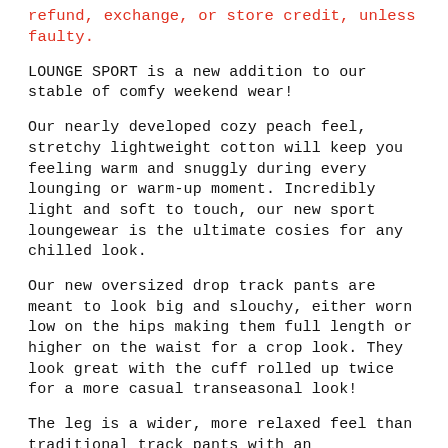refund, exchange, or store credit, unless faulty.
LOUNGE SPORT is a new addition to our stable of comfy weekend wear!
Our nearly developed cozy peach feel, stretchy lightweight cotton will keep you feeling warm and snuggly during every lounging or warm-up moment. Incredibly light and soft to touch, our new sport loungewear is the ultimate cosies for any chilled look.
Our new oversized drop track pants are meant to look big and slouchy, either worn low on the hips making them full length or higher on the waist for a crop look. They look great with the cuff rolled up twice for a more casual transeasonal look!
The leg is a wider, more relaxed feel than traditional track pants with an exaggerated drop and slouchy front pockets. The front drop is 35cm from the top of the waistband to the bottom of the crotch!